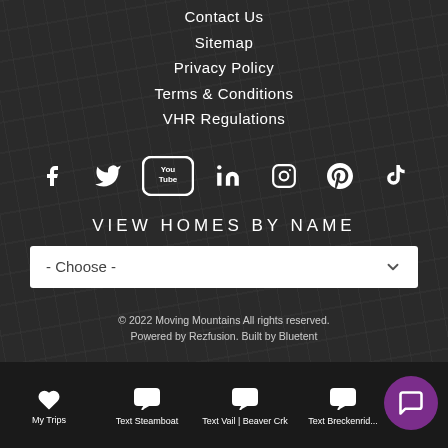Contact Us
Sitemap
Privacy Policy
Terms & Conditions
VHR Regulations
[Figure (infographic): Social media icons row: Facebook, Twitter, YouTube, LinkedIn, Instagram, Pinterest, TikTok — all white on dark background]
VIEW HOMES BY NAME
- Choose -
© 2022 Moving Mountains All rights reserved.
Powered by Rezfusion. Built by Bluetent
[Figure (infographic): Bottom navigation bar with: My Trips (heart icon), Text Steamboat (chat icon), Text Vail | Beaver Crk (chat icon), Text Breckenrid... (chat icon), Chat (chat icon), Call (phone icon), and a purple circle chat button on the right]